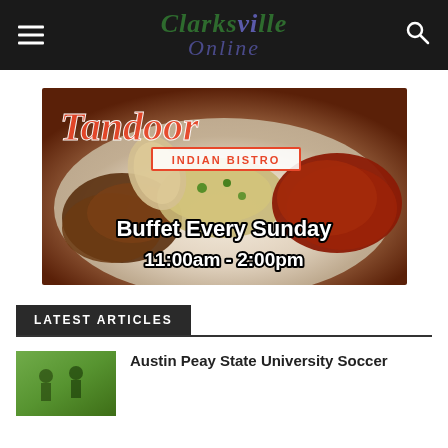Clarksville Online
[Figure (illustration): Tandoor Indian Bistro advertisement showing Indian food dishes with text: Buffet Every Sunday 11:00am - 2:00pm]
LATEST ARTICLES
Austin Peay State University Soccer